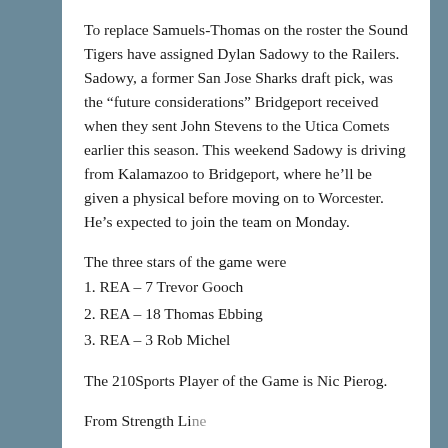To replace Samuels-Thomas on the roster the Sound Tigers have assigned Dylan Sadowy to the Railers. Sadowy, a former San Jose Sharks draft pick, was the “future considerations” Bridgeport received when they sent John Stevens to the Utica Comets earlier this season. This weekend Sadowy is driving from Kalamazoo to Bridgeport, where he’ll be given a physical before moving on to Worcester. He’s expected to join the team on Monday.
The three stars of the game were
1. REA – 7 Trevor Gooch
2. REA – 18 Thomas Ebbing
3. REA – 3 Rob Michel
The 210Sports Player of the Game is Nic Pierog.
From Strength Line...